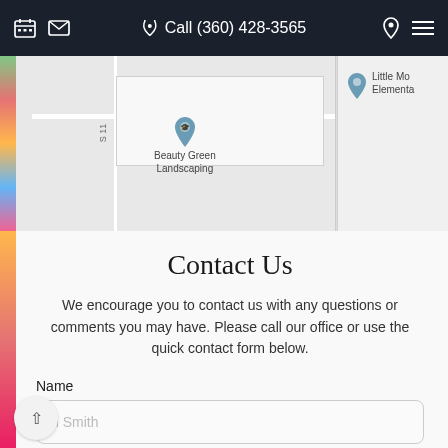Call (360) 428-3565
[Figure (map): Google Maps showing location of Beauty Green Landscaping and Little Mo Elementary nearby]
Contact Us
We encourage you to contact us with any questions or comments you may have. Please call our office or use the quick contact form below.
Name
Phone